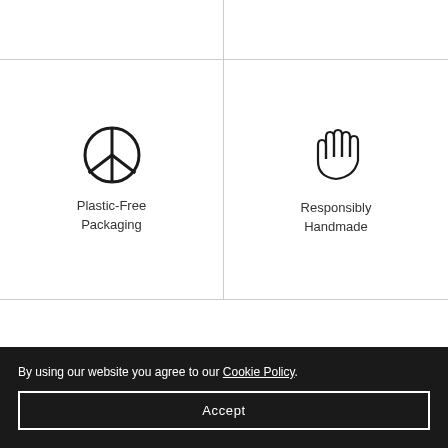[Figure (illustration): Peace sign / circular peace symbol icon (plastic-free packaging)]
Plastic-Free Packaging
[Figure (illustration): Hand / raised palm icon (responsibly handmade)]
Responsibly Handmade
By using our website you agree to our Cookie Policy.
Accept